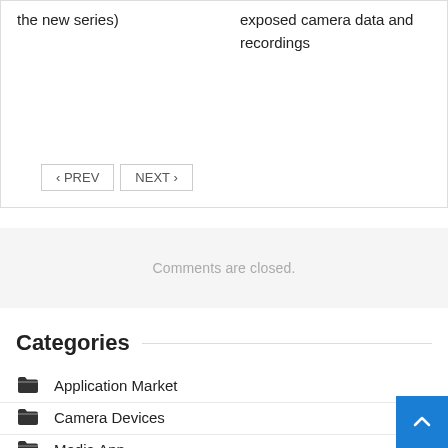the new series)
exposed camera data and recordings
‹ PREV   NEXT ›
Comments are closed.
Categories
Application Market
Camera Devices
Media App
Multimedia
Smart Devices